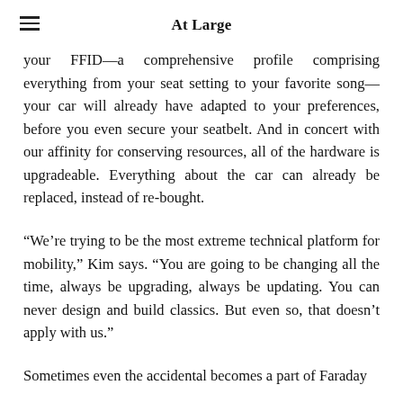At Large
your FFID—a comprehensive profile comprising everything from your seat setting to your favorite song—your car will already have adapted to your preferences, before you even secure your seatbelt. And in concert with our affinity for conserving resources, all of the hardware is upgradeable. Everything about the car can already be replaced, instead of re-bought.
“We’re trying to be the most extreme technical platform for mobility,” Kim says. “You are going to be changing all the time, always be upgrading, always be updating. You can never design and build classics. But even so, that doesn’t apply with us.”
Sometimes even the accidental becomes a part of Faraday